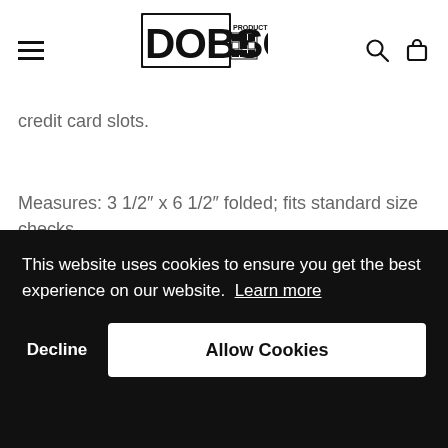DOBSON PRODUCTS [logo] [hamburger menu] [search icon] [bag icon]
credit card slots.
Measures: 3 1/2" x 6 1/2" folded; fits standard size checks.
Quantity — 1 +
This website uses cookies to ensure you get the best experience on our website. Learn more
Decline    Allow Cookies